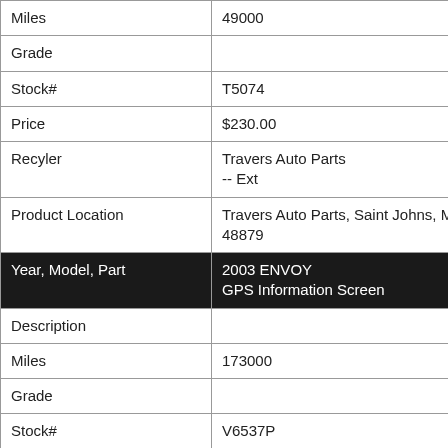| Miles | 49000 |
| Grade |  |
| Stock# | T5074 |
| Price | $230.00 |
| Recyler | Travers Auto Parts
-- Ext |
| Product Location | Travers Auto Parts, Saint Johns, MI 48879 |
| Year, Model, Part | 2003 ENVOY
GPS Information Screen |
| Description |  |
| Miles | 173000 |
| Grade |  |
| Stock# | V6537P |
| Price | $125.00 |
| Recyler | Lincoln Auto |